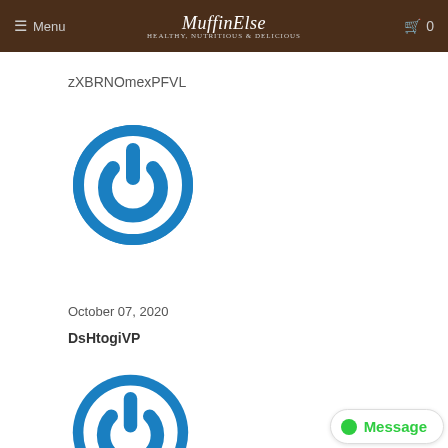Menu | MuffinElse | 0
zXBRNOmexPFVL
[Figure (logo): Blue circular power button icon]
October 07, 2020
DsHtogiVP
[Figure (logo): Blue circular power button icon]
Message